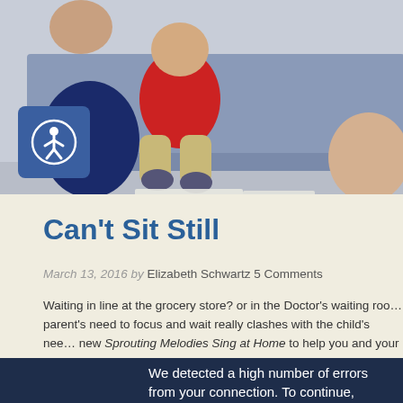[Figure (photo): Photo of a child in a red shirt sitting on an adult's lap in a waiting room setting, with gray upholstered seating. An accessibility icon (person in a circle) appears in the bottom-left of the photo area on a blue square background.]
Can't Sit Still
March 13, 2016 by Elizabeth Schwartz 5 Comments
Waiting in line at the grocery store? or in the Doctor's waiting roo… parent's need to focus and wait really clashes with the child's nee… new Sprouting Melodies Sing at Home to help you and your chilo… times. It might just be one of the most fun songs I have ever writt…
Enjoy!
We detected a high number of errors from your connection. To continue, please confirm that youâ€™re a human (and not